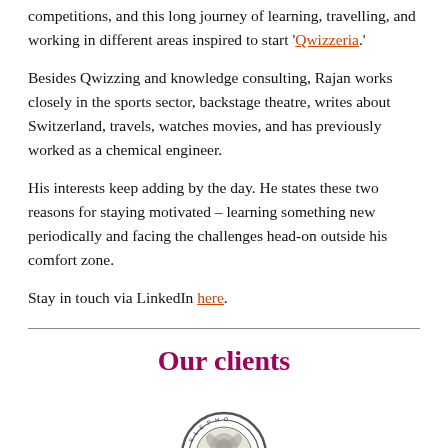competitions, and this long journey of learning, travelling, and working in different areas inspired to start 'Qwizzeria.'
Besides Qwizzing and knowledge consulting, Rajan works closely in the sports sector, backstage theatre, writes about Switzerland, travels, watches movies, and has previously worked as a chemical engineer.
His interests keep adding by the day. He states these two reasons for staying motivated – learning something new periodically and facing the challenges head-on outside his comfort zone.
Stay in touch via LinkedIn here.
Our clients
[Figure (logo): Circular badge/stamp logo partially visible at the bottom of the page]